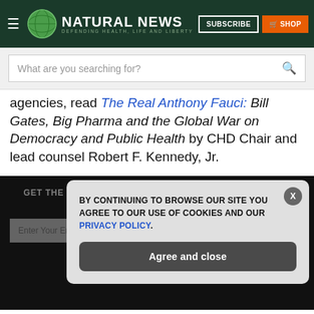NATURAL NEWS — Defending Health, Life and Liberty
What are you searching for?
agencies, read The Real Anthony Fauci: Bill Gates, Big Pharma and the Global War on Democracy and Public Health by CHD Chair and lead counsel Robert F. Kennedy, Jr.
GET THE WORLD'S BEST NATURAL HEALTH NEWSLETTER DELIVERED STRAIGHT TO YOUR INBOX
BY CONTINUING TO BROWSE OUR SITE YOU AGREE TO OUR USE OF COOKIES AND OUR PRIVACY POLICY.
Agree and close